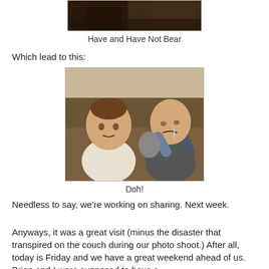[Figure (photo): Top portion of a photo showing two babies sitting on a couch, cropped — only the lower portion visible (dark clothing/legs area)]
Have and Have Not Bear
Which lead to this:
[Figure (photo): Two babies sitting on a brown couch. The baby on the left wears white and sits calmly. The baby on the right wears blue and dark clothing and is crying, holding a stuffed animal toy.]
Doh!
Needless to say, we're working on sharing. Next week.
Anyways, it was a great visit (minus the disaster that transpired on the couch during our photo shoot.) After all, today is Friday and we have a great weekend ahead of us. Brian and I were supposed to have a